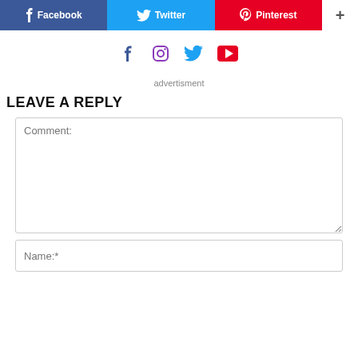[Figure (other): Social share bar with Facebook, Twitter, Pinterest, and plus buttons]
[Figure (other): Social media icons: Facebook, Instagram, Twitter, YouTube]
advertisment
LEAVE A REPLY
Comment:
Name:*